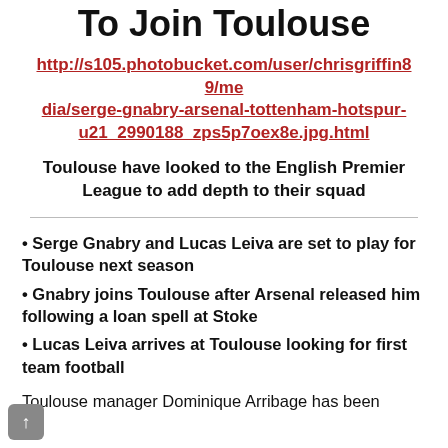To Join Toulouse
http://s105.photobucket.com/user/chrisgriffin89/media/serge-gnabry-arsenal-tottenham-hotspur-u21_2990188_zps5p7oex8e.jpg.html
Toulouse have looked to the English Premier League to add depth to their squad
• Serge Gnabry and Lucas Leiva are set to play for Toulouse next season
• Gnabry joins Toulouse after Arsenal released him following a loan spell at Stoke
• Lucas Leiva arrives at Toulouse looking for first team football
Toulouse manager Dominique Arribage has been